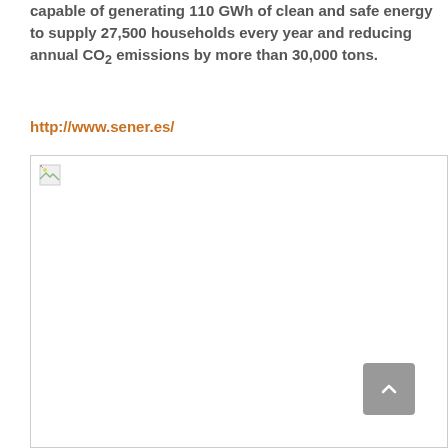capable of generating 110 GWh of clean and safe energy to supply 27,500 households every year and reducing annual CO₂ emissions by more than 30,000 tons.
http://www.sener.es/
[Figure (photo): Large image placeholder (broken/unloaded image) occupying the lower portion of the page, with a scroll-to-top button in the lower right corner.]